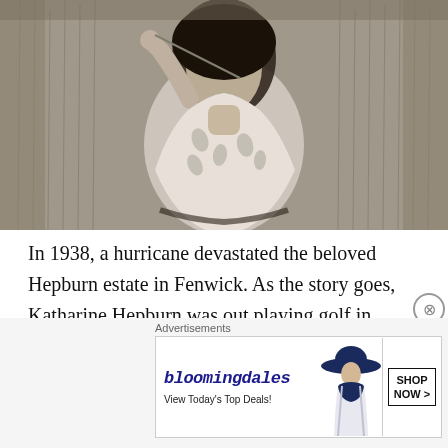[Figure (photo): Black and white photograph of a woman (Katharine Hepburn) standing in a field of tall grass, holding something to her mouth, wearing a floral or patterned top]
In 1938, a hurricane devastated the beloved Hepburn estate in Fenwick. As the story goes, Katharine Hepburn was out playing golf in Fenwick as the monster storm was approaching. Hepburn and many others rode out the storm in Fenwick. There was no radar, satellite, or buoys
Advertisements
[Figure (screenshot): Bloomingdale's advertisement banner showing logo, 'View Today's Top Deals!' tagline, a woman in a wide-brim hat, and a 'SHOP NOW >' button]